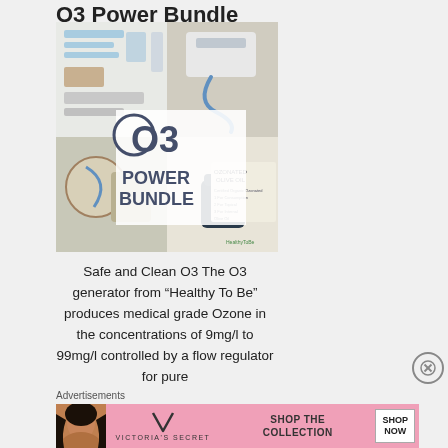O3 Power Bundle
[Figure (photo): Product photo collage of O3 Power Bundle showing medical ozone generator kit components, tubing, accessories, ozonated olive oil jar, and a large overlay graphic reading 'O3 POWER BUNDLE']
Safe and Clean O3 The O3 generator from “Healthy To Be” produces medical grade Ozone in the concentrations of 9mg/l to 99mg/l controlled by a flow regulator for pure
Advertisements
[Figure (photo): Victoria's Secret advertisement banner showing a woman with curly hair, VS logo, text 'SHOP THE COLLECTION', and a 'SHOP NOW' button]